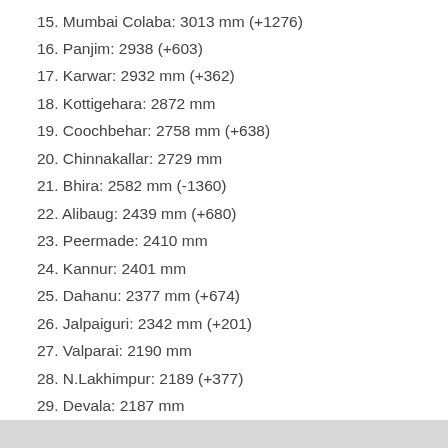15. Mumbai Colaba: 3013 mm (+1276)
16. Panjim: 2938 (+603)
17. Karwar: 2932 mm (+362)
18. Kottigehara: 2872 mm
19. Coochbehar: 2758 mm (+638)
20. Chinnakallar: 2729 mm
21. Bhira: 2582 mm (-1360)
22. Alibaug: 2439 mm (+680)
23. Peermade: 2410 mm
24. Kannur: 2401 mm
25. Dahanu: 2377 mm (+674)
26. Jalpaiguri: 2342 mm (+201)
27. Valparai: 2190 mm
28. N.Lakhimpur: 2189 (+377)
29. Devala: 2187 mm
30. Dheradun: 2071 mm (+579)
31. Kozhikode: 2025 mm (-184)